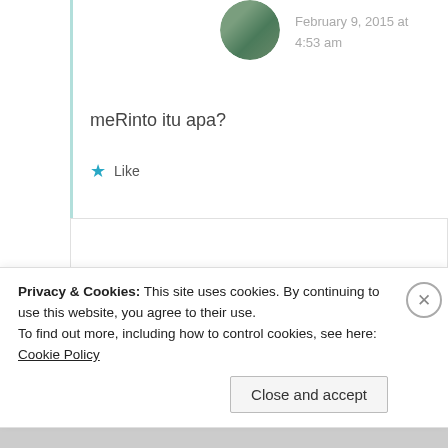February 9, 2015 at 4:53 am
meRinto itu apa?
★ Like
Ryan
February 9, 2015 at 4:55 am
Privacy & Cookies: This site uses cookies. By continuing to use this website, you agree to their use. To find out more, including how to control cookies, see here: Cookie Policy
Close and accept